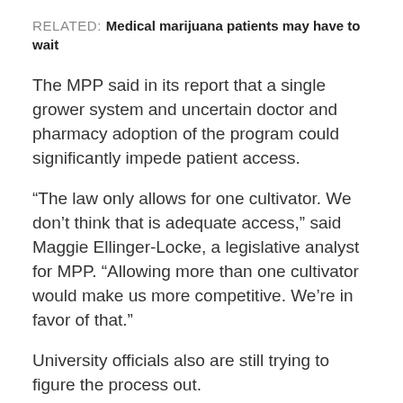RELATED: Medical marijuana patients may have to wait
The MPP said in its report that a single grower system and uncertain doctor and pharmacy adoption of the program could significantly impede patient access.
“The law only allows for one cultivator. We don’t think that is adequate access,” said Maggie Ellinger-Locke, a legislative analyst for MPP. “Allowing more than one cultivator would make us more competitive. We’re in favor of that.”
University officials also are still trying to figure the process out.
“A business plan is being developed. Investigation and review of other medical marijuana initiatives in other